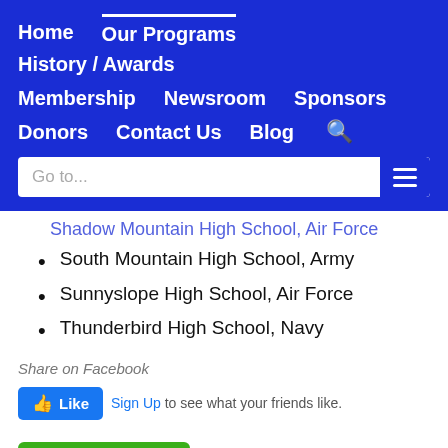Home | Our Programs | History / Awards | Membership | Newsroom | Sponsors | Donors | Contact Us | Blog
Shadow Mountain High School, Air Force
South Mountain High School, Army
Sunnyslope High School, Air Force
Thunderbird High School, Navy
Share on Facebook
[Figure (screenshot): Facebook Like button widget with Sign Up link]
[Figure (screenshot): Print and PDF button in green]